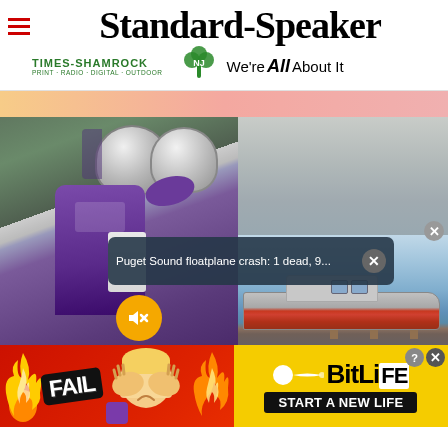Standard-Speaker
[Figure (logo): Times-Shamrock shamrock logo with text: TIMES-SHAMROCK PRINT · RADIO · DIGITAL · OUTDOOR and We're All About It]
[Figure (photo): Football players in purple uniforms and white helmets on a field, with an overlaid news notification popup reading 'Puget Sound floatplane crash: 1 dead, 9...' and a mute button overlay, and a secondary image showing a Coast Guard boat on water]
Puget Sound floatplane crash: 1 dead, 9...
[Figure (screenshot): BitLife advertisement banner with fire/fail imagery, emoji, and text: FAIL, BitLife, START A NEW LIFE on red and yellow background]